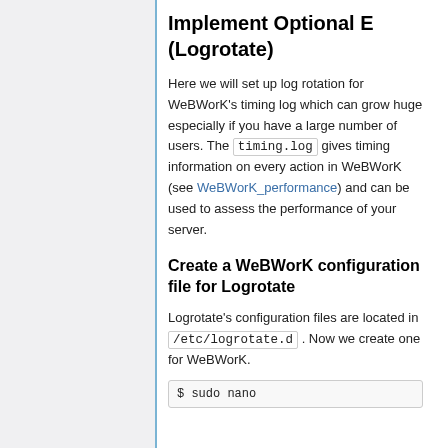Implement Optional E (Logrotate)
Here we will set up log rotation for WeBWorK's timing log which can grow huge especially if you have a large number of users. The timing.log gives timing information on every action in WeBWorK (see WeBWorK_performance) and can be used to assess the performance of your server.
Create a WeBWorK configuration file for Logrotate
Logrotate's configuration files are located in /etc/logrotate.d . Now we create one for WeBWorK.
$ sudo nano